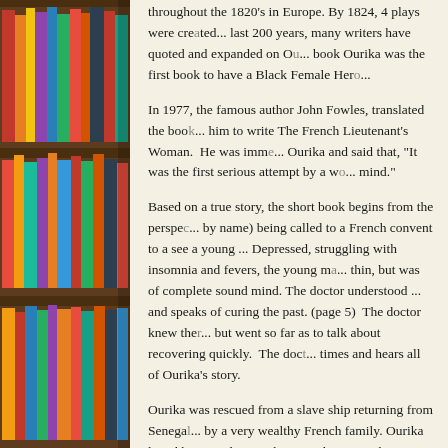[Figure (photo): Photograph of colorful books arranged on wooden bookshelves, occupying the left third of the page.]
throughout the 1820's in Europe. By 1824, 4 plays were cre... last 200 years, many writers have quoted and expanded on O... book Ourika was the first book to have a Black Female Her...
In 1977, the famous author John Fowles, translated the book... him to write The French Lieutenant's Woman. He was imm... Ourika and said that, "It was the first serious attempt by a w... mind."
Based on a true story, the short book begins from the perspe... by name) being called to a French convent to a see a young... Depressed, struggling with insomnia and fevers, the young m... thin, but was of complete sound mind. The doctor understood... and speaks of curing the past. (page 5) The doctor knew the... but went so far as to talk about recovering quickly. The doc... times and hears all of Ourika's story.
Ourika was rescued from a slave ship returning from Senega... by a very wealthy French family. Ourika loved her guardian... she never knew anything different. She was told she was an... was different from all of the light skinned people that surrou...